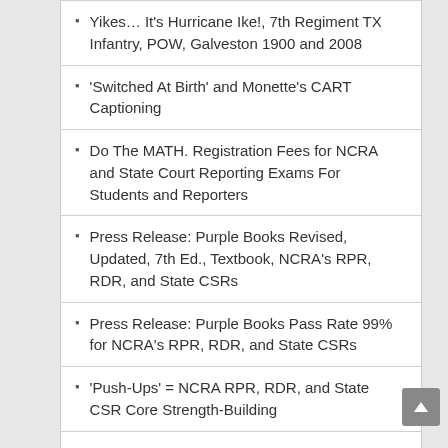Yikes… It's Hurricane Ike!, 7th Regiment TX Infantry, POW, Galveston 1900 and 2008
'Switched At Birth' and Monette's CART Captioning
Do The MATH. Registration Fees for NCRA and State Court Reporting Exams For Students and Reporters
Press Release: Purple Books Revised, Updated, 7th Ed., Textbook, NCRA's RPR, RDR, and State CSRs
Press Release: Purple Books Pass Rate 99% for NCRA's RPR, RDR, and State CSRs
'Push-Ups' = NCRA RPR, RDR, and State CSR Core Strength-Building